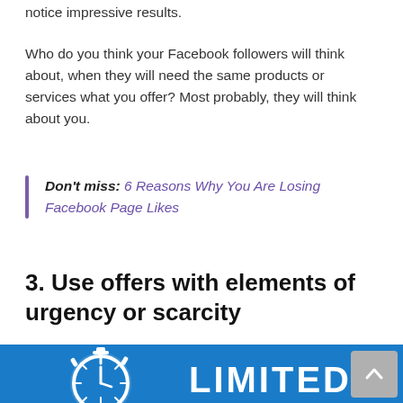notice impressive results.
Who do you think your Facebook followers will think about, when they will need the same products or services what you offer? Most probably, they will think about you.
Don't miss: 6 Reasons Why You Are Losing Facebook Page Likes
3. Use offers with elements of urgency or scarcity
[Figure (illustration): Blue banner image with a stopwatch icon on the left and the word LIMITED in large white text on a blue background. A grey scroll-to-top arrow button is visible in the bottom right corner.]